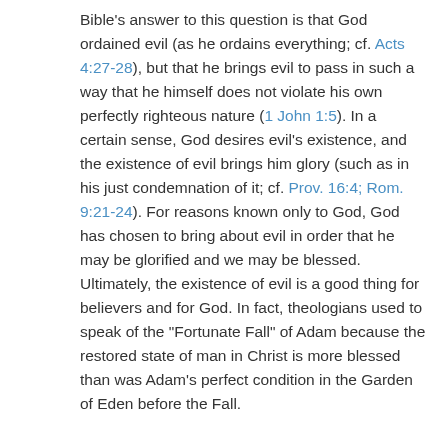Bible's answer to this question is that God ordained evil (as he ordains everything; cf. Acts 4:27-28), but that he brings evil to pass in such a way that he himself does not violate his own perfectly righteous nature (1 John 1:5). In a certain sense, God desires evil's existence, and the existence of evil brings him glory (such as in his just condemnation of it; cf. Prov. 16:4; Rom. 9:21-24). For reasons known only to God, God has chosen to bring about evil in order that he may be glorified and we may be blessed. Ultimately, the existence of evil is a good thing for believers and for God. In fact, theologians used to speak of the "Fortunate Fall" of Adam because the restored state of man in Christ is more blessed than was Adam's perfect condition in the Garden of Eden before the Fall.